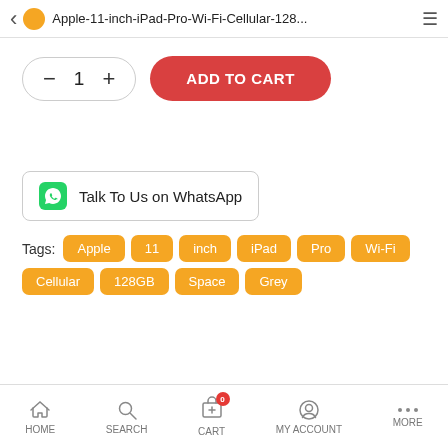Apple-11-inch-iPad-Pro-Wi-Fi-Cellular-128...
— 1 + ADD TO CART
Talk To Us on WhatsApp
Tags: Apple 11 inch iPad Pro Wi-Fi Cellular 128GB Space Grey
HOME SEARCH CART MY ACCOUNT MORE